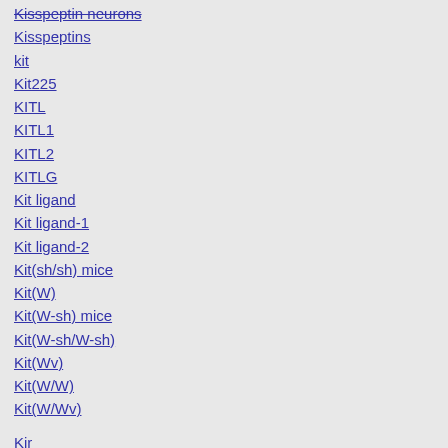Kisspeptin neurons
Kisspeptins
kit
Kit225
KITL
KITL1
KITL2
KITLG
Kit ligand
Kit ligand-1
Kit ligand-2
Kit(sh/sh) mice
Kit(W)
Kit(W-sh) mice
Kit(W-sh/W-sh)
Kit(Wv)
Kit(W/W)
Kit(W/Wv)
Kjr
KK34
KKA3
KKAYQLEHTFQGLLamide
KKFKETADKLIESAKQQLESLAKEMK
K-Kininogens
KKISQRYQKFALPQYLKTVYQHQKAMKPWIQPKTKVIPY
KKKEERADLIAYLKKA
KKKQKNGKKHQKK